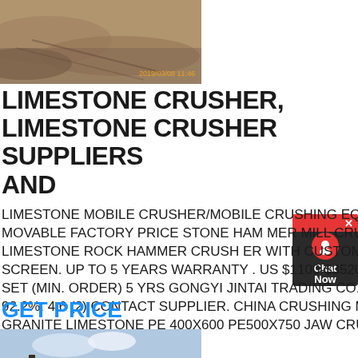[Figure (photo): Aerial or ground-level photo of a limestone quarry or crushing site, showing gravel/rock terrain with a timestamp overlay reading 2019/03/08 11:46]
LIMESTONE CRUSHER, LIMESTONE CRUSHER SUPPLIERS AND
LIMESTONE MOBILE CRUSHER/MOBILE CRUSHING EQUIPMENT, MOVABLE FACTORY PRICE STONE HAMMER MILL CRUSHING LIMESTONE ROCK HAMMER CRUSHER WITH CUSTOMIZED SCREEN. UP TO 5 YEARS WARRANTY. US $1100-$35200 / SET. 1 SET (MIN. ORDER) 5 YRS GONGYI JINTAI TRADING CO., LTD. 92.2%. 4.6 (2) CONTACT SUPPLIER. CHINA CRUSHING MACHINE GRANITE LIMESTONE PE 400X600 PE500X750 JAW CRUSHER. US $15300
GET PRICE
[Figure (photo): Photo of limestone crushing machinery/equipment outdoors against a sky with clouds]